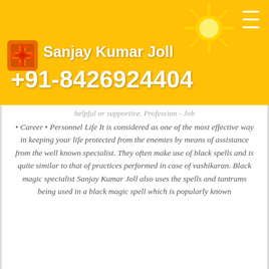Sanjay Kumar Joll +91-8426924404
helpful or supportive. Profession - Job • Career • Personnel Life It is considered as one of the most effective way in keeping your life protected from the enemies by means of assistance from the well known specialist. They often make use of black spells and is quite similar to that of practices performed in case of vashikaran. Black magic specialist Sanjay Kumar Joll also uses the spells and tantrums being used in a black magic spell which is popularly known